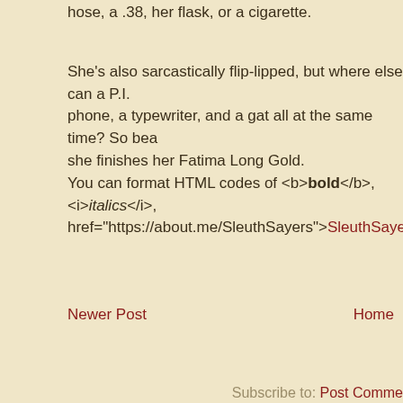hose, a .38, her flask, or a cigarette.
She's also sarcastically flip-lipped, but where else can a P.I. phone, a typewriter, and a gat all at the same time? So bea she finishes her Fatima Long Gold.
You can format HTML codes of <b>bold</b>, <i>italics</i>, href="https://about.me/SleuthSayers">SleuthSayers</a>
Newer Post
Home
Subscribe to: Post Comme